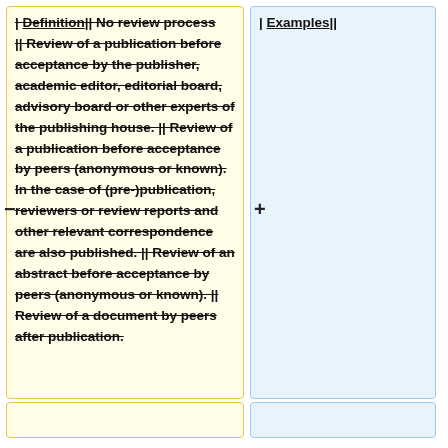| Definition | Examples |
| --- | --- |
| No review process || Review of a publication before acceptance by the publisher, academic editor, editorial board, advisory board or other experts of the publishing house. || Review of a publication before acceptance by peers (anonymous or known). In the case of (pre-)publication, reviewers or review reports and other relevant correspondence are also published. || Review of an abstract before acceptance by peers (anonymous or known). || Review of a document by peers after publication. |  |